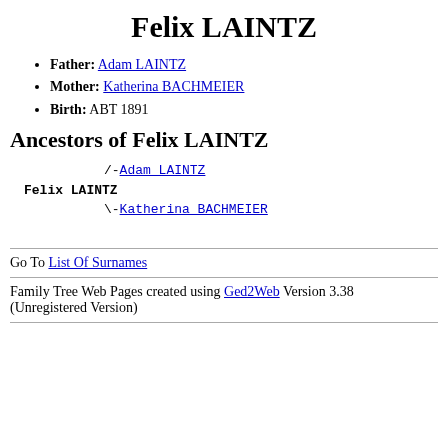Felix LAINTZ
Father: Adam LAINTZ
Mother: Katherina BACHMEIER
Birth: ABT 1891
Ancestors of Felix LAINTZ
/-Adam LAINTZ
Felix LAINTZ
\-Katherina BACHMEIER
Go To List Of Surnames
Family Tree Web Pages created using Ged2Web Version 3.38 (Unregistered Version)